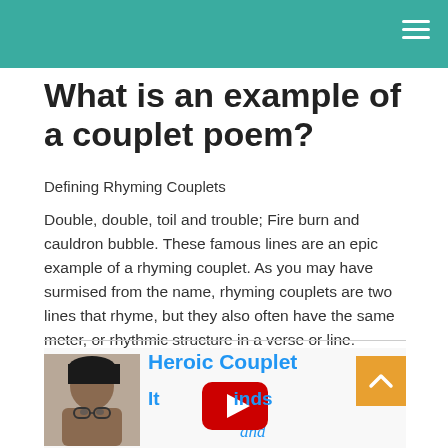What is an example of a couplet poem?
Defining Rhyming Couplets
Double, double, toil and trouble; Fire burn and cauldron bubble. These famous lines are an epic example of a rhyming couplet. As you may have surmised from the name, rhyming couplets are two lines that rhyme, but they also often have the same meter, or rhythmic structure in a verse or line.
[Figure (screenshot): A video thumbnail with text 'Heroic Couplet' in bold blue, a person photo on the left, a YouTube play button overlay, text 'It...kinds' in blue, 'and' in cursive blue, and an orange back-to-top arrow button on the right.]